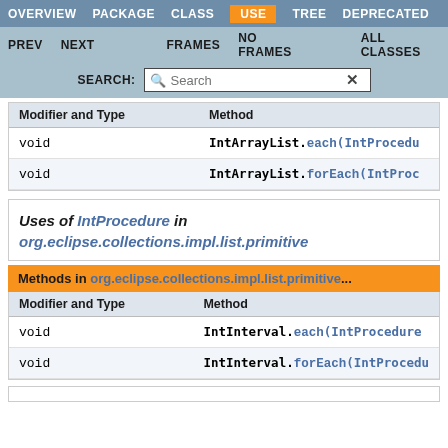OVERVIEW  PACKAGE  CLASS  USE  TREE  DEPRECATED
PREV  NEXT  FRAMES  NO FRAMES  ALL CLASSES
| Modifier and Type | Method |
| --- | --- |
| void | IntArrayList.each(IntProcedu... |
| void | IntArrayList.forEach(IntProc... |
Uses of IntProcedure in org.eclipse.collections.impl.list.primitive
| Modifier and Type | Method |
| --- | --- |
| void | IntInterval.each(IntProcedure... |
| void | IntInterval.forEach(IntProcedu... |